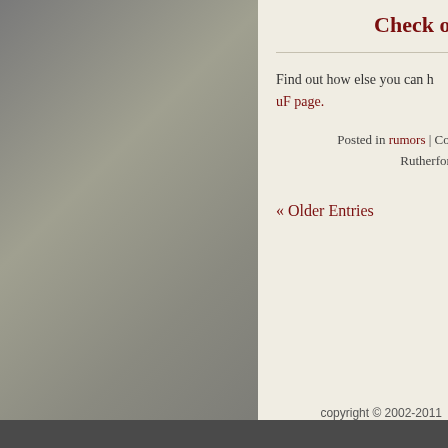Check out
Find out how else you can h uF page.
Posted in rumors | Comm Rutherford D
« Older Entries
copyright © 2002-2011